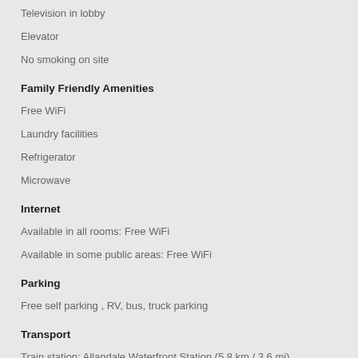Television in lobby
Elevator
No smoking on site
Family Friendly Amenities
Free WiFi
Laundry facilities
Refrigerator
Microwave
Internet
Available in all rooms: Free WiFi
Available in some public areas: Free WiFi
Parking
Free self parking , RV, bus, truck parking
Transport
Train station: Allandale Waterfront Station (5.8 km / 3.6 mi)